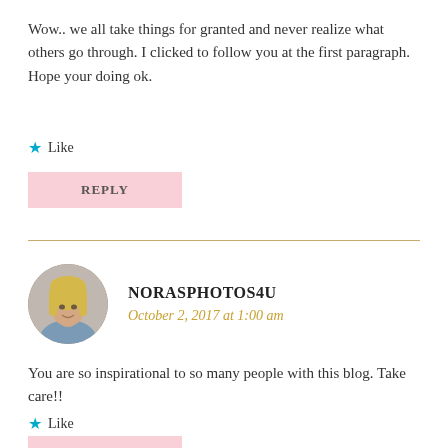Wow.. we all take things for granted and never realize what others go through. I clicked to follow you at the first paragraph. Hope your doing ok.
★ Like
REPLY
NORASPHOTOS4U
October 2, 2017 at 1:00 am
You are so inspirational to so many people with this blog. Take care!!
★ Like